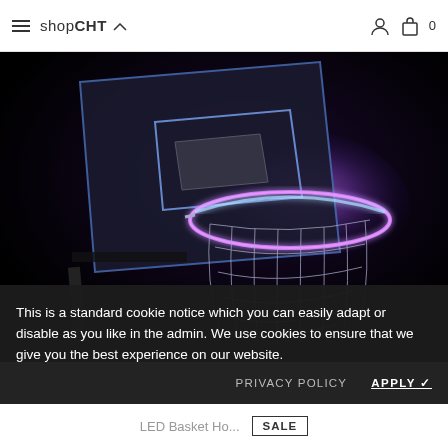shopCHT — navigation header with hamburger menu, logo, user icon, bag icon, cart count 0
[Figure (photo): LED illuminated basketball hoop at night. The backboard and rim are lit with purple/blue LED lights glowing brightly against a dark background. The net hangs below the lit rim.]
This is a standard cookie notice which you can easily adapt or disable as you like in the admin. We use cookies to ensure that we give you the best experience on our website.
PRIVACY POLICY    APPLY ✓
LED Basket Ho...
SALE